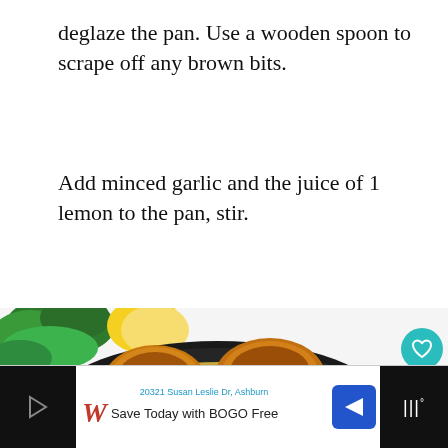deglaze the pan. Use a wooden spoon to scrape off any brown bits.
Add minced garlic and the juice of 1 lemon to the pan, stir.
[Figure (photo): A cast iron skillet containing golden-brown seared chicken thighs in a yellow sauce, with fresh parsley and lemon wedges in the upper left corner. A heart/like button (teal circle with heart icon, count 30) and a share button are visible on the right side. A 'WHAT'S NEXT → Easy Low Carb Skillet...' overlay appears at the lower right.]
20321 Susan Leslie Dr, Ashburn | Save Today with BOGO Free